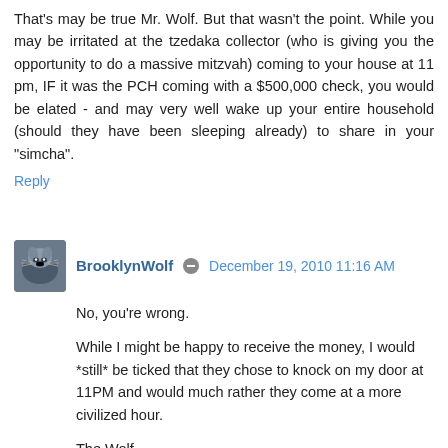That's may be true Mr. Wolf. But that wasn't the point. While you may be irritated at the tzedaka collector (who is giving you the opportunity to do a massive mitzvah) coming to your house at 11 pm, IF it was the PCH coming with a $500,000 check, you would be elated - and may very well wake up your entire household (should they have been sleeping already) to share in your "simcha".
Reply
BrooklynWolf   December 19, 2010 11:16 AM
No, you're wrong.

While I might be happy to receive the money, I would *still* be ticked that they chose to knock on my door at 11PM and would much rather they come at a more civilized hour.

The Wolf
Reply